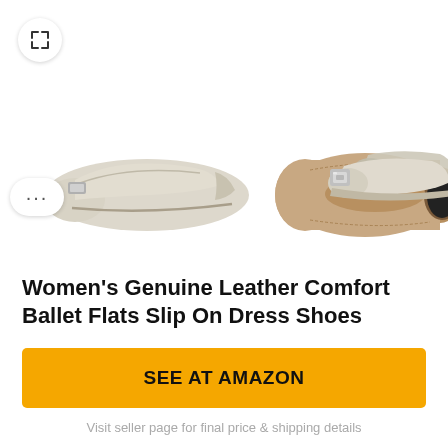[Figure (photo): Three views of women's beige/cream genuine leather ballet flat shoes on white background. Left shows side profile, center shows bottom sole view, right shows two shoes from front-angle showing silver buckle detail.]
Women's Genuine Leather Comfort Ballet Flats Slip On Dress Shoes
SEE AT AMAZON
Visit seller page for final price & shipping details